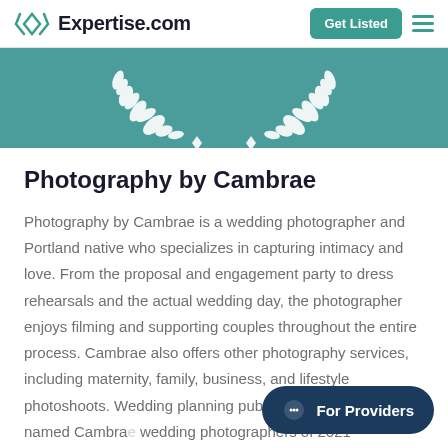Expertise.com | Get Listed
[Figure (illustration): Teal banner with white laurel wreath decoration at bottom center]
Photography by Cambrae
Photography by Cambrae is a wedding photographer and Portland native who specializes in capturing intimacy and love. From the proposal and engagement party to dress rehearsals and the actual wedding day, the photographer enjoys filming and supporting couples throughout the entire process. Cambrae also offers other photography services, including maternity, family, business, and lifestyle photoshoots. Wedding planning publication The Knot named Cambrae wedding photographers of 2021